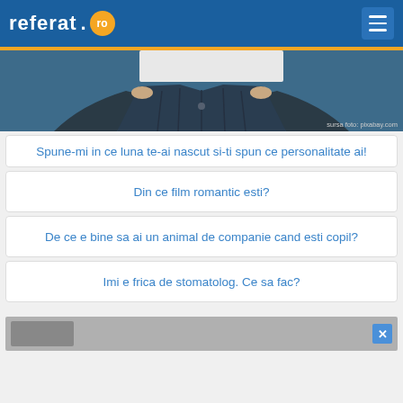referat.ro
[Figure (photo): Person in dark jacket holding a white sign, cropped at top, credit: sursa foto: pixabay.com]
sursa foto: pixabay.com
Spune-mi in ce luna te-ai nascut si-ti spun ce personalitate ai!
Din ce film romantic esti?
De ce e bine sa ai un animal de companie cand esti copil?
Imi e frica de stomatolog. Ce sa fac?
[Figure (screenshot): Advertisement banner at bottom with close X button]